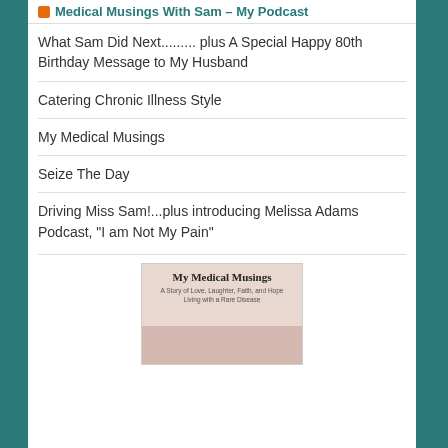Medical Musings With Sam – My Podcast
What Sam Did Next......... plus A Special Happy 80th Birthday Message to My Husband
Catering Chronic Illness Style
My Medical Musings
Seize The Day
Driving Miss Sam!...plus introducing Melissa Adams Podcast, "I am Not My Pain"
[Figure (photo): Book cover image for 'My Medical Musings: A Story of Love, Laughter, Faith, and Hope Living with a Rare Disease']